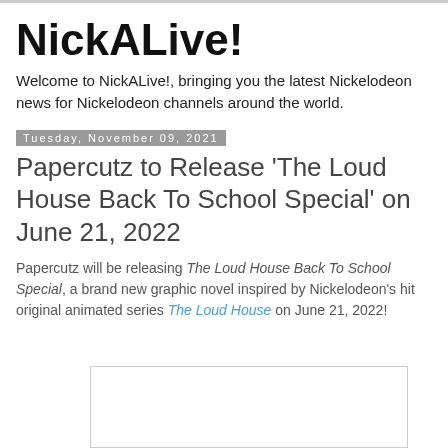NickALive!
Welcome to NickALive!, bringing you the latest Nickelodeon news for Nickelodeon channels around the world.
Tuesday, November 09, 2021
Papercutz to Release 'The Loud House Back To School Special' on June 21, 2022
Papercutz will be releasing The Loud House Back To School Special, a brand new graphic novel inspired by Nickelodeon's hit original animated series The Loud House on June 21, 2022!
[Figure (photo): Image placeholder at bottom of page, partially visible]